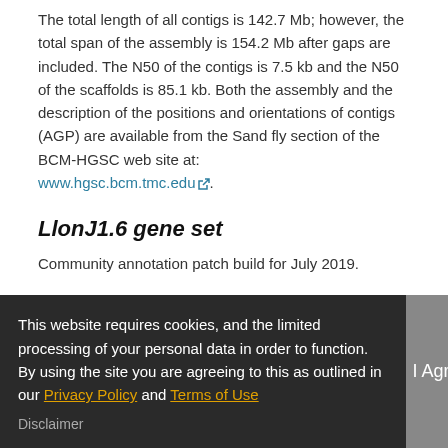The total length of all contigs is 142.7 Mb; however, the total span of the assembly is 154.2 Mb after gaps are included. The N50 of the contigs is 7.5 kb and the N50 of the scaffolds is 85.1 kb. Both the assembly and the description of the positions and orientations of contigs (AGP) are available from the Sand fly section of the BCM-HGSC web site at: www.hgsc.bcm.tmc.edu.
LlonJ1.6 gene set
Community annotation patch build for July 2019.
Ensembl Metazoa release 54 - Jul 2022 © EMBL-EBI
About Us | Get help | Our sister
About us | Using this website | Ensembl
This website requires cookies, and the limited processing of your personal data in order to function. By using the site you are agreeing to this as outlined in our Privacy Policy and Terms of Use